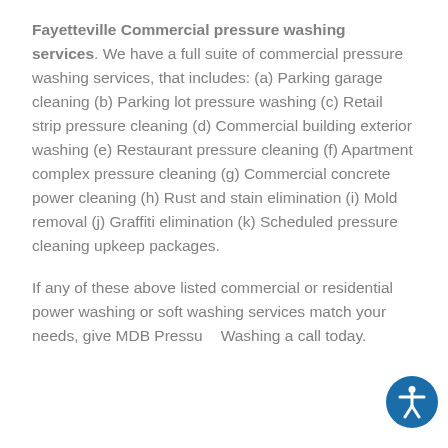Fayetteville Commercial pressure washing services. We have a full suite of commercial pressure washing services, that includes: (a) Parking garage cleaning (b) Parking lot pressure washing (c) Retail strip pressure cleaning (d) Commercial building exterior washing (e) Restaurant pressure cleaning (f) Apartment complex pressure cleaning (g) Commercial concrete power cleaning (h) Rust and stain elimination (i) Mold removal (j) Graffiti elimination (k) Scheduled pressure cleaning upkeep packages.
If any of these above listed commercial or residential power washing or soft washing services match your needs, give MDB Pressure Washing a call today.